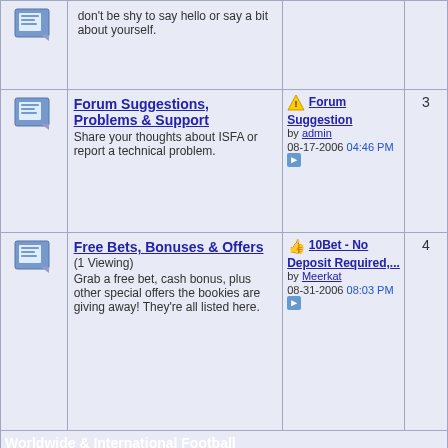don't be shy to say hello or say a bit about yourself.
Forum Suggestions, Problems & Support — Share your thoughts about ISFA or report a technical problem.
Last post: Forum Suggestion by admin, 08-17-2006 04:46 PM. Count: 3
Free Bets, Bonuses & Offers (1 Viewing) — Grab a free bet, cash bonus, plus other special offers the bookies are giving away! They're all listed here.
Last post: 10Bet - No Deposit Required,... by Meerkat, 08-31-2006 08:03 PM. Count: 4
Worldwide & International Football
General Soccer Chat & Worldwide Football — Come here to talk about soccer in general, plus discussions a...
Last post: cool prediction site by nbgd_28, 12-28-2006 03:37 AM. Count: 8